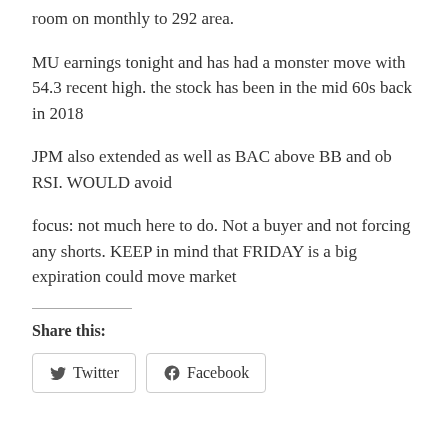room on monthly to 292 area.
MU earnings tonight and has had a monster move with 54.3 recent high. the stock has been in the mid 60s back in 2018
JPM also extended as well as BAC above BB and ob RSI. WOULD avoid
focus: not much here to do. Not a buyer and not forcing any shorts. KEEP in mind that FRIDAY is a big expiration could move market
Share this:
Twitter   Facebook